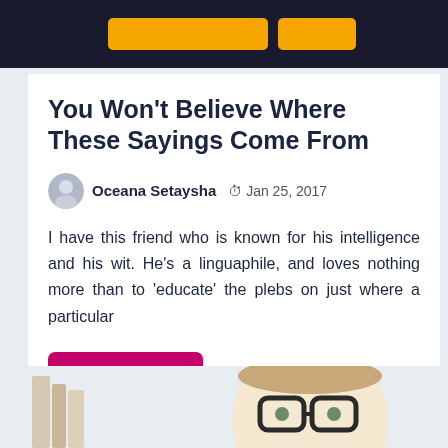[Figure (photo): Dark banner/header area at top of page with yellow/orange buttons partially visible]
You Won't Believe Where These Sayings Come From
Oceana Setaysha   Jan 25, 2017
I have this friend who is known for his intelligence and his wit. He's a linguaphile, and loves nothing more than to 'educate' the plebs on just where a particular
Read More
[Figure (photo): Partial photo at bottom of page showing a child with thick-framed glasses and books]